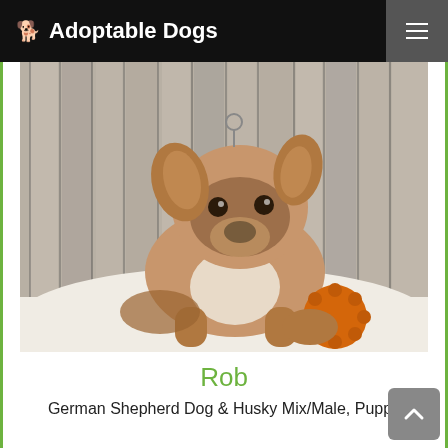🐕 Adoptable Dogs
[Figure (photo): A German Shepherd and Husky mix puppy named Rob, lying on a white fabric background against a weathered wood wall, with an orange spiky ball toy.]
Rob
German Shepherd Dog & Husky Mix/Male, Puppy